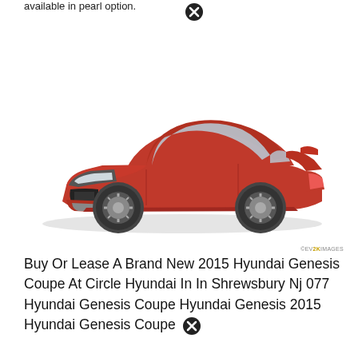available in pearl option.
[Figure (photo): Red 2015 Hyundai Genesis Coupe shown in a 3/4 front view on white background, with EVOX IMAGES watermark]
©EVOX IMAGES
Buy Or Lease A Brand New 2015 Hyundai Genesis Coupe At Circle Hyundai In In Shrewsbury Nj 077 Hyundai Genesis Coupe Hyundai Genesis 2015 Hyundai Genesis Coupe